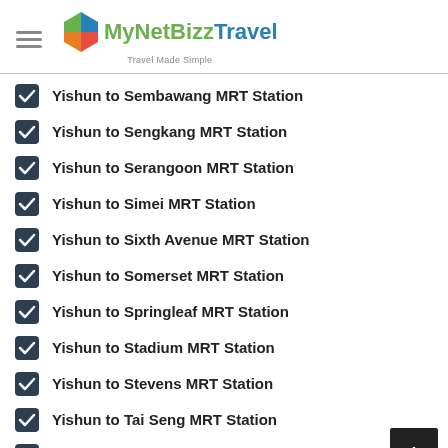[Figure (logo): MyNetBizz Travel logo with colorful diamond icon and tagline 'Travel Made Simple']
Yishun to Sembawang MRT Station
Yishun to Sengkang MRT Station
Yishun to Serangoon MRT Station
Yishun to Simei MRT Station
Yishun to Sixth Avenue MRT Station
Yishun to Somerset MRT Station
Yishun to Springleaf MRT Station
Yishun to Stadium MRT Station
Yishun to Stevens MRT Station
Yishun to Tai Seng MRT Station
Yishun to Tampines MRT Station